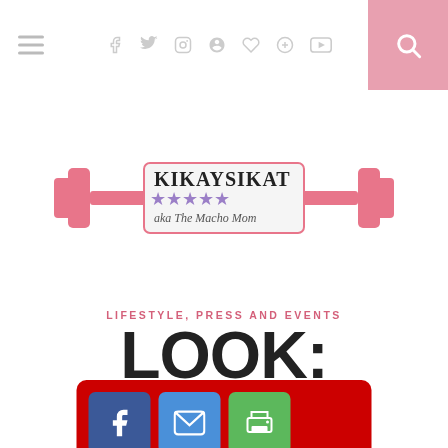KIKAYSIKAT aka The Macho Mom — navigation bar with social icons and search
[Figure (logo): KikaySikat blog logo with dumbbell graphic, pink stars, and text 'KIKAYSIKAT aka The Macho Mom']
LIFESTYLE, PRESS AND EVENTS
LOOK: EASTER PAGEANT INSPIRED AT